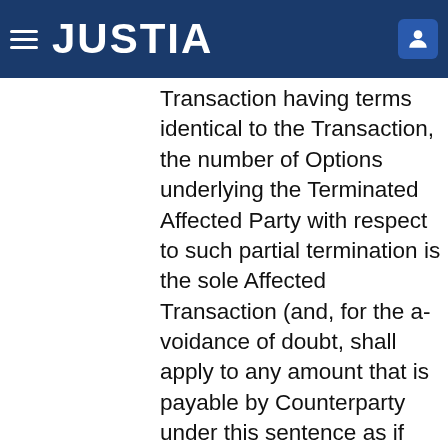JUSTIA
Transaction having terms identical to the Transaction, the number of Options underlying the Terminated Affected Party with respect to such partial termination is the sole Affected Transaction (and, for the avoidance of doubt, shall apply to any amount that is payable by Counterparty under this sentence as if Counterparty was not the Affected Party on any day is the fraction, expressed as a percentage, of Shares that Dealer and any of its affiliates or Dealer for purposes of the “beneficial ownership” or any “group” (within the meaning of Section may be deemed to be a part beneficially owned Exchange Act), without duplication, on such equivalent calculation under Section 16 of the promulgated thereunder results in a higher denominator of which is the number of Shares. “Percentage” as of any day is the fraction, expressed as a percentage, the numerator of which is the sum of (1) the product of the Number